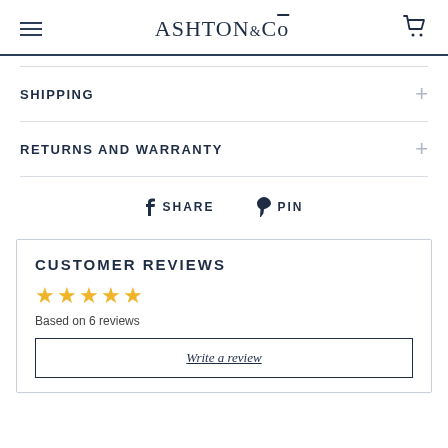ASHTON&Co
SHIPPING
RETURNS AND WARRANTY
f SHARE   PIN
CUSTOMER REVIEWS
★★★★★ Based on 6 reviews
Write a review